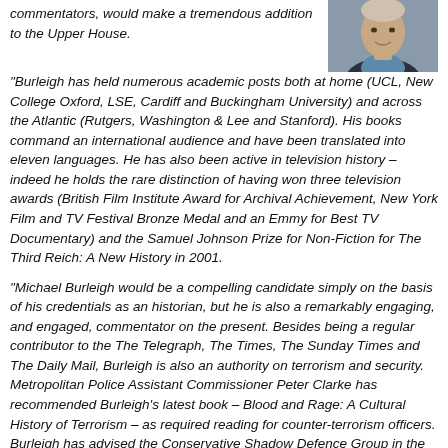commentators, would make a tremendous addition to the Upper House.
[Figure (photo): Headshot photo of a man in a suit]
"Burleigh has held numerous academic posts both at home (UCL, New College Oxford, LSE, Cardiff and Buckingham University) and across the Atlantic (Rutgers, Washington & Lee and Stanford). His books command an international audience and have been translated into eleven languages. He has also been active in television history – indeed he holds the rare distinction of having won three television awards (British Film Institute Award for Archival Achievement, New York Film and TV Festival Bronze Medal and an Emmy for Best TV Documentary) and the Samuel Johnson Prize for Non-Fiction for The Third Reich: A New History in 2001.
"Michael Burleigh would be a compelling candidate simply on the basis of his credentials as an historian, but he is also a remarkably engaging, and engaged, commentator on the present. Besides being a regular contributor to the The Telegraph, The Times, The Sunday Times and The Daily Mail, Burleigh is also an authority on terrorism and security. Metropolitan Police Assistant Commissioner Peter Clarke has recommended Burleigh’s latest book – Blood and Rage: A Cultural History of Terrorism – as required reading for counter-terrorism officers. Burleigh has advised the Conservative Shadow Defence Group in the House of Commons, and his work is